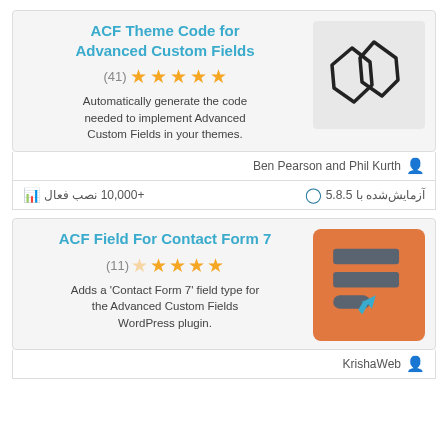ACF Theme Code for Advanced Custom Fields
(41) ★★★★★
Automatically generate the code needed to implement Advanced Custom Fields in your themes.
[Figure (illustration): Code bracket icon in black outline style]
Ben Pearson and Phil Kurth
+10,000 نصب فعال  آزمایش‌شده با 5.8.5
ACF Field For Contact Form 7
(11) ★★★★★
Adds a 'Contact Form 7' field type for the Advanced Custom Fields WordPress plugin.
[Figure (illustration): Orange rounded square icon with form fields and cursor arrow]
KrishaWeb